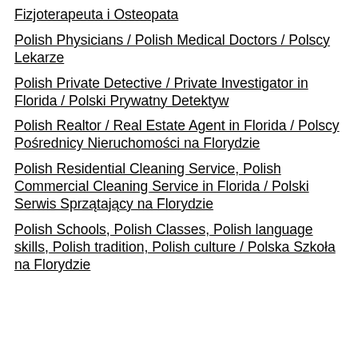Fizjoterapeuta i Osteopata
Polish Physicians / Polish Medical Doctors / Polscy Lekarze
Polish Private Detective / Private Investigator in Florida / Polski Prywatny Detektyw
Polish Realtor / Real Estate Agent in Florida / Polscy Pośrednicy Nieruchomości na Florydzie
Polish Residential Cleaning Service, Polish Commercial Cleaning Service in Florida / Polski Serwis Sprzątający na Florydzie
Polish Schools, Polish Classes, Polish language skills, Polish tradition, Polish culture / Polska Szkoła na Florydzie